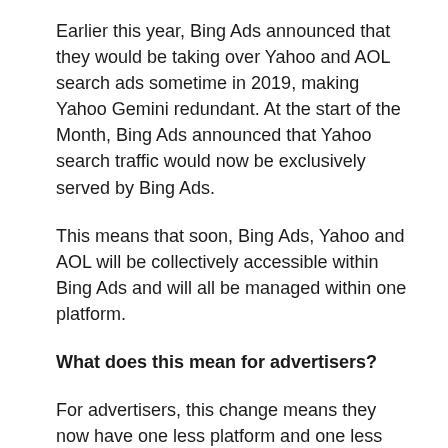Earlier this year, Bing Ads announced that they would be taking over Yahoo and AOL search ads sometime in 2019, making Yahoo Gemini redundant. At the start of the Month, Bing Ads announced that Yahoo search traffic would now be exclusively served by Bing Ads.
This means that soon, Bing Ads, Yahoo and AOL will be collectively accessible within Bing Ads and will all be managed within one platform.
What does this mean for advertisers?
For advertisers, this change means they now have one less platform and one less